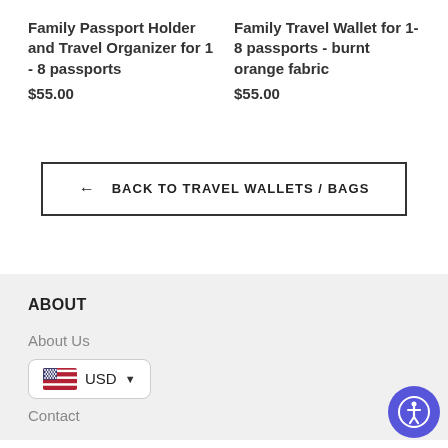Family Passport Holder and Travel Organizer for 1 - 8 passports
$55.00
Family Travel Wallet for 1-8 passports - burnt orange fabric
$55.00
← BACK TO TRAVEL WALLETS / BAGS
ABOUT
About Us
USD
Contact